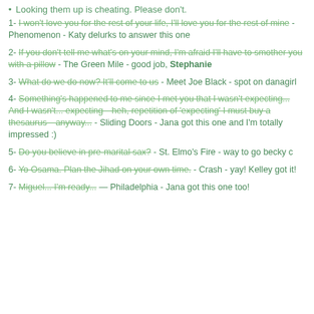Looking them up is cheating. Please don't.
1- I won't love you for the rest of your life, I'll love you for the rest of mine - Phenomenon - Katy delurks to answer this one
2- If you don't tell me what's on your mind, I'm afraid I'll have to smother you with a pillow - The Green Mile - good job, Stephanie
3- What do we do now? It'll come to us - Meet Joe Black - spot on danagirl
4- Something's happened to me since I met you that I wasn't expecting... And I wasn't... expecting—heh, repetition of 'expecting' I must buy a thesaurus—anyway... - Sliding Doors - Jana got this one and I'm totally impressed :)
5- Do you believe in pre-marital sax? - St. Elmo's Fire - way to go becky c
6- Yo Osama. Plan the Jihad on your own time. - Crash - yay! Kelley got it!
7- Miguel... I'm ready... — Philadelphia - Jana got this one too!